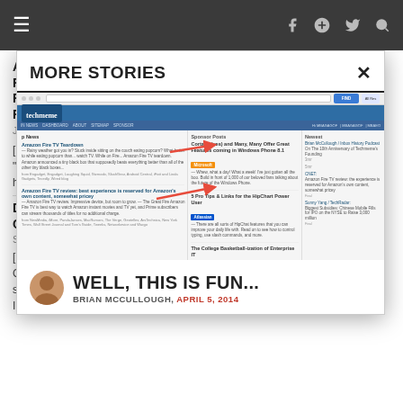Navigation bar with hamburger menu, Facebook, Google+, Twitter, and Search icons
AIMS & 'HALF AND CAN ON FIRE' IS CAPITALISM'S FINEST HOUR BY KEITH FARRELL - DR. RICH SWIER
June 17, 2015 at 9:46 am — Reply
[..."W...ha...
DIRECTOR ... COHEN | IN...
September ...
[...Ca...st...IB...
[Figure (screenshot): Modal dialog showing 'MORE STORIES' with a screenshot of Techmeme website with red arrows pointing to sponsored posts. Below the screenshot is the headline 'WELL, THIS IS FUN...' by BRIAN MCCULLOUGH, APRIL 5, 2014.]